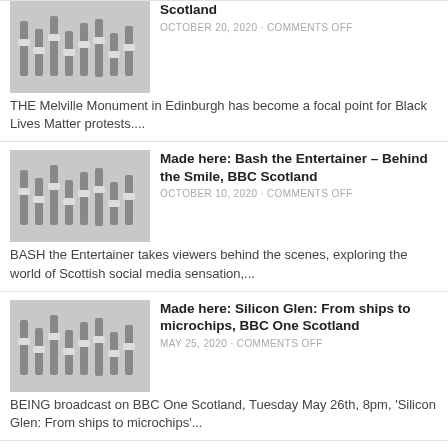[Figure (photo): Audio mixing board/faders close-up]
Scotland
OCTOBER 20, 2020 · COMMENTS OFF
THE Melville Monument in Edinburgh has become a focal point for Black Lives Matter protests....
[Figure (photo): Audio mixing board/faders close-up]
Made here: Bash the Entertainer – Behind the Smile, BBC Scotland
OCTOBER 10, 2020 · COMMENTS OFF
BASH the Entertainer takes viewers behind the scenes, exploring the world of Scottish social media sensation,...
[Figure (photo): Audio mixing board/faders close-up]
Made here: Silicon Glen: From ships to microchips, BBC One Scotland
MAY 25, 2020 · COMMENTS OFF
BEING broadcast on BBC One Scotland, Tuesday May 26th, 8pm, 'Silicon Glen: From ships to microchips'...
[Figure (photo): Notebook and pen on desk]
My Media Day: Neil Cumins, founder, G75 Media and G75 Images
MAY 4, 2020 · COMMENTS OFF
NEIL Cumins is the founder of media agencies, G75 Media and G75 Images property photography. He...